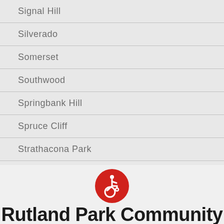Signal Hill
Silverado
Somerset
Southwood
Springbank Hill
Spruce Cliff
Strathacona Park
West Springs
Woodbine
Woodlands
[Figure (logo): Accessibility icon — red circle with white wheelchair user figure]
Rutland Park Community